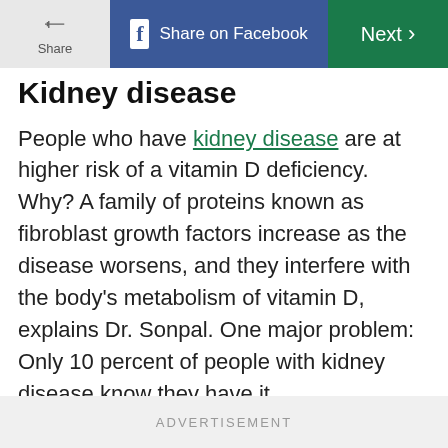Share | Share on Facebook | Next >
Kidney disease
People who have kidney disease are at higher risk of a vitamin D deficiency. Why? A family of proteins known as fibroblast growth factors increase as the disease worsens, and they interfere with the body's metabolism of vitamin D, explains Dr. Sonpal. One major problem: Only 10 percent of people with kidney disease know they have it.
ADVERTISEMENT